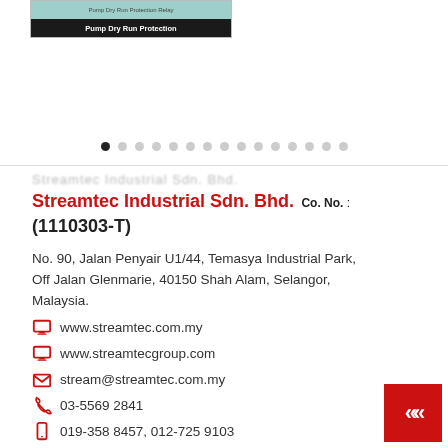[Figure (screenshot): Product image banner showing 'Pump Dry Run Protection Relay' with teal/green header bar and black label bar]
[Figure (infographic): Slideshow navigation dots row: 15 dots, first dot filled/active (black), rest grey]
Streamtec Industrial Sdn. Bhd. Co. No. : (1110303-T)
No. 90, Jalan Penyair U1/44, Temasya Industrial Park, Off Jalan Glenmarie, 40150 Shah Alam, Selangor, Malaysia.
www.streamtec.com.my
www.streamtecgroup.com
stream@streamtec.com.my
03-5569 2841
019-358 8457, 012-725 9103